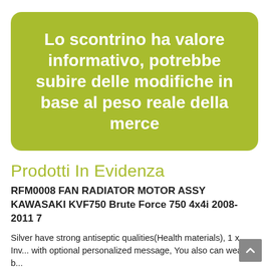Lo scontrino ha valore informativo, potrebbe subire delle modifiche in base al peso reale della merce
Prodotti In Evidenza
RFM0008 FAN RADIATOR MOTOR ASSY KAWASAKI KVF750 Brute Force 750 4x4i 2008-2011 7
Silver have strong antiseptic qualities(Health materials), 1 x Inv... with optional personalized message, You also can wear in b...